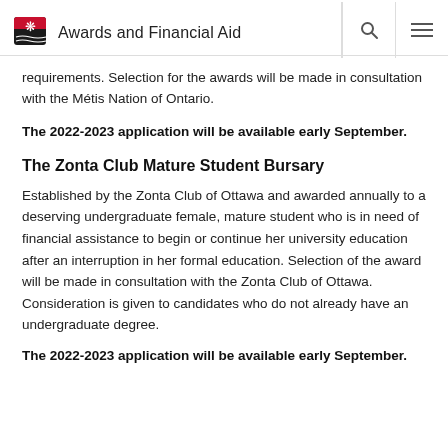Awards and Financial Aid
requirements. Selection for the awards will be made in consultation with the Métis Nation of Ontario.
The 2022-2023 application will be available early September.
The Zonta Club Mature Student Bursary
Established by the Zonta Club of Ottawa and awarded annually to a deserving undergraduate female, mature student who is in need of financial assistance to begin or continue her university education after an interruption in her formal education. Selection of the award will be made in consultation with the Zonta Club of Ottawa. Consideration is given to candidates who do not already have an undergraduate degree.
The 2022-2023 application will be available early September.